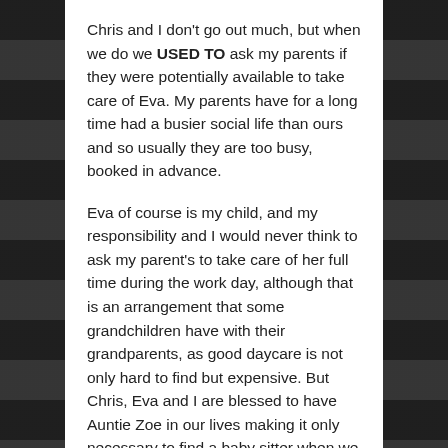Chris and I don't go out much, but when we do we USED TO ask my parents if they were potentially available to take care of Eva. My parents have for a long time had a busier social life than ours and so usually they are too busy, booked in advance.
Eva of course is my child, and my responsibility and I would never think to ask my parent's to take care of her full time during the work day, although that is an arrangement that some grandchildren have with their grandparents, as good daycare is not only hard to find but expensive. But Chris, Eva and I are blessed to have Auntie Zoe in our lives making it only necessary to find a baby sitter when we have plans in the evening.
My parents did agree to take care of Eva for three whole days and nights while we were all on vacation in New Hampshire last year, and it was going to be Chris and I's first chance since she was born to reconnect for a long weekend in New York for the occasion of a friend's wedding. Everyone had a great time. Eva reconnected with...